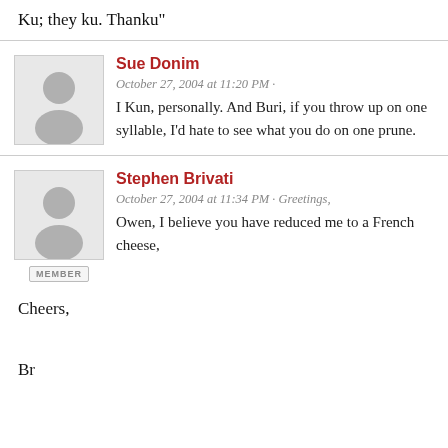Ku; they ku. Thanku"
Sue Donim
October 27, 2004 at 11:20 PM · I Kun, personally. And Buri, if you throw up on one syllable, I'd hate to see what you do on one prune.
Stephen Brivati
October 27, 2004 at 11:34 PM · Greetings,
Owen, I believe you have reduced me to a French cheese,
Cheers,
Br